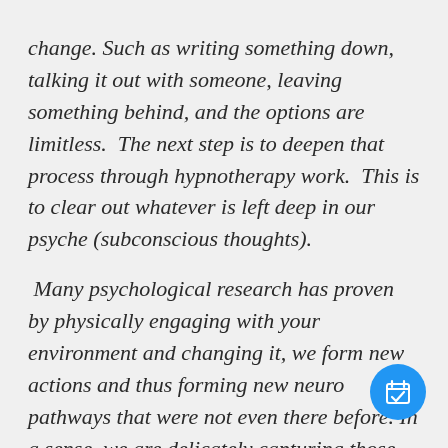change. Such as writing something down, talking it out with someone, leaving something behind, and the options are limitless.  The next step is to deepen that process through hypnotherapy work. This is to clear out whatever is left deep in our psyche (subconscious thoughts).
Many psychological research has proven by physically engaging with your environment and changing it, we form new actions and thus forming new neuro pathways that were not even there before. In a sense, we are delicately capturing those hidden, elusive subconscious thought patterns
[Figure (illustration): Blue circular floating action button with a calendar/checkmark icon]